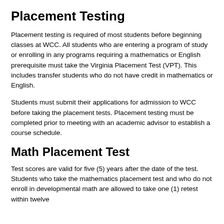Placement Testing
Placement testing is required of most students before beginning classes at WCC. All students who are entering a program of study or enrolling in any programs requiring a mathematics or English prerequisite must take the Virginia Placement Test (VPT). This includes transfer students who do not have credit in mathematics or English.
Students must submit their applications for admission to WCC before taking the placement tests. Placement testing must be completed prior to meeting with an academic advisor to establish a course schedule.
Math Placement Test
Test scores are valid for five (5) years after the date of the test. Students who take the mathematics placement test and who do not enroll in developmental math are allowed to take one (1) retest within twelve...